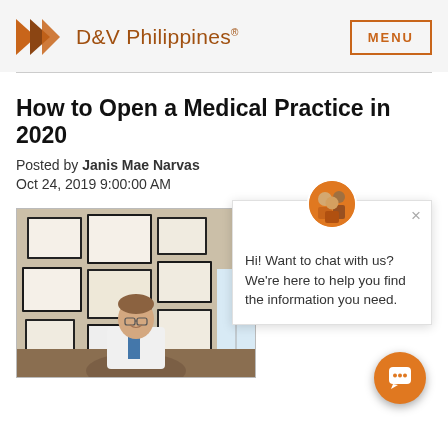D&V Philippines® | MENU
How to Open a Medical Practice in 2020
Posted by Janis Mae Narvas
Oct 24, 2019 9:00:00 AM
[Figure (photo): Doctor in white coat sitting at desk in front of wall covered with framed certificates and diplomas]
Hi! Want to chat with us? We're here to help you find the information you need.